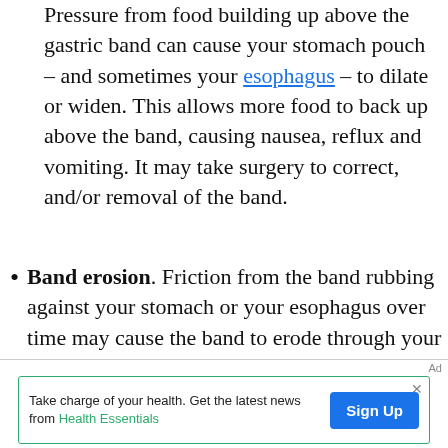Pressure from food building up above the gastric band can cause your stomach pouch – and sometimes your esophagus – to dilate or widen. This allows more food to back up above the band, causing nausea, reflux and vomiting. It may take surgery to correct, and/or removal of the band.
Band erosion. Friction from the band rubbing against your stomach or your esophagus over time may cause the band to erode through your stomach. This makes the band ineffective and can also cause infection. The
[Figure (other): Advertisement banner: 'Take charge of your health. Get the latest news from Health Essentials' with a blue Sign Up button]